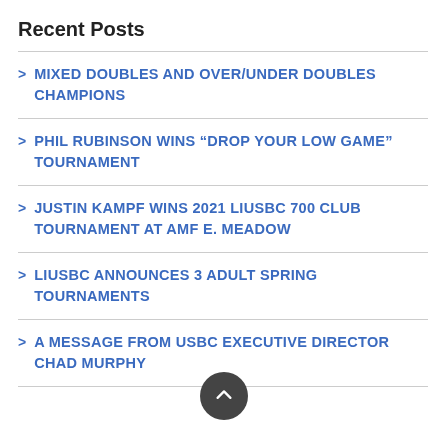Recent Posts
MIXED DOUBLES AND OVER/UNDER DOUBLES CHAMPIONS
PHIL RUBINSON WINS “DROP YOUR LOW GAME” TOURNAMENT
JUSTIN KAMPF WINS 2021 LIUSBC 700 CLUB TOURNAMENT AT AMF E. MEADOW
LIUSBC ANNOUNCES 3 ADULT SPRING TOURNAMENTS
A MESSAGE FROM USBC EXECUTIVE DIRECTOR CHAD MURPHY